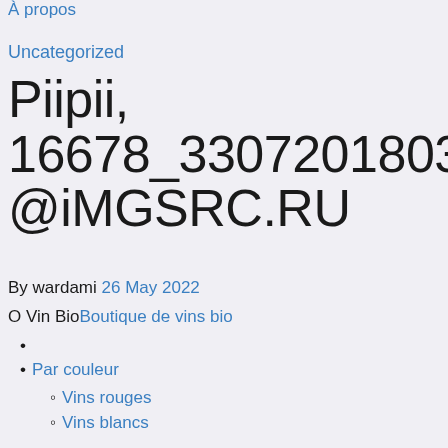À propos
Uncategorized
Piipii, 16678_3307201803744473@iMGSRC.RU
By wardami 26 May 2022
O Vin BioBoutique de vins bio
Par couleur
Vins rouges
Vins blancs
Vins rosés
Tous les vins
Par région
Alsace
Bordeaux